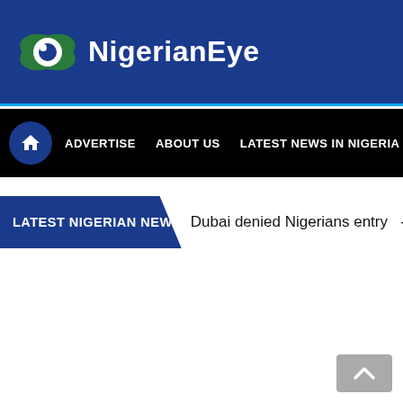[Figure (logo): NigerianEye logo with eye icon and white bold text on blue background header bar]
ADVERTISE   ABOUT US   LATEST NEWS IN NIGERIA   PO
LATEST NIGERIAN NEWS   Dubai denied Nigerians entry  -
[Figure (illustration): Scroll to top button (chevron up) in grey at bottom right]